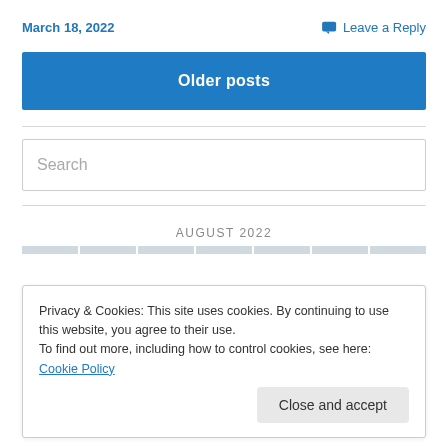March 18, 2022
Leave a Reply
Older posts
Search
AUGUST 2022
Privacy & Cookies: This site uses cookies. By continuing to use this website, you agree to their use.
To find out more, including how to control cookies, see here: Cookie Policy
Close and accept